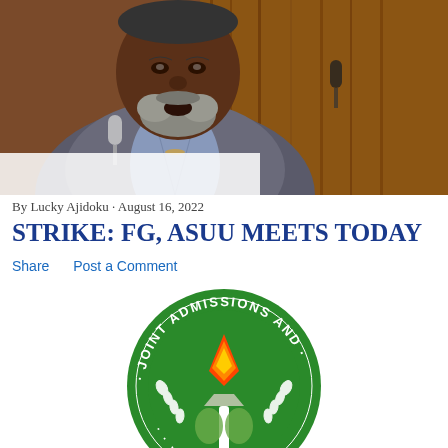[Figure (photo): Photo of a man in a grey suit and blue striped shirt speaking at a press conference, microphone visible, wooden background]
By Lucky Ajidoku · August 16, 2022
STRIKE: FG, ASUU MEETS TODAY
Share   Post a Comment
[Figure (logo): Joint Admissions and Matriculation Board (JAMB) logo — green circular seal with white text 'JOINT ADMISSIONS AND' and a torch/flame emblem in red, orange, green, and white]